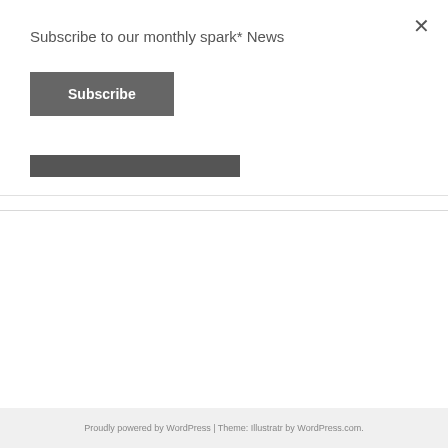Subscribe to our monthly spark* News
Subscribe
Self-Regulation in the Classroom
Q: Why does my child fall apart the moment he walks in the door after school?
Proudly powered by WordPress | Theme: Illustratr by WordPress.com.